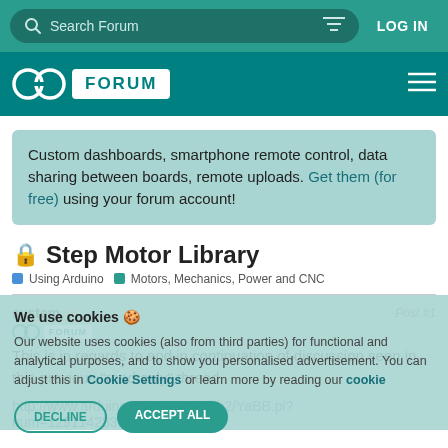Search Forum | LOG IN
[Figure (logo): Arduino Forum logo with infinity symbol and FORUM badge]
Custom dashboards, smartphone remote control, data sharing between boards, remote uploads. Get them (for free) using your forum account!
Step Motor Library
Using Arduino > Motors, Mechanics, Power and CNC
system - Post #1
This is in regards to and in continuation of discussion seen in this previous "read only" thread

http://www.arduino.cc/cgi-bin/yabb2/YaBB.pl?num=1291142833/25#25
We use cookies 🍪
Our website uses cookies (also from third parties) for functional and analytical purposes, and to show you personalised advertisement. You can adjust this in Cookie Settings or learn more by reading our cookie